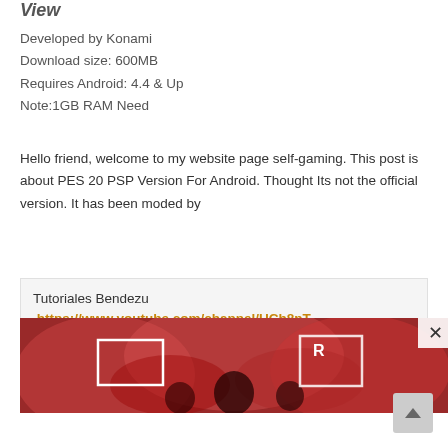View
Developed by Konami
Download size: 600MB
Requires Android: 4.4 & Up
Note:1GB RAM Need
Hello friend, welcome to my website page self-gaming. This post is about PES 20 PSP Version For Android. Thought Its not the official version. It has been moded by
Tutoriales Bendezu  https://www.youtube.com/channel/UCh8nT-5W4kNAnEJO2dNH-4A
so, you can subscribe their channel to get more mods.
[Figure (photo): A football match image showing crowd in red, with two white rectangular overlay boxes and a close button.]